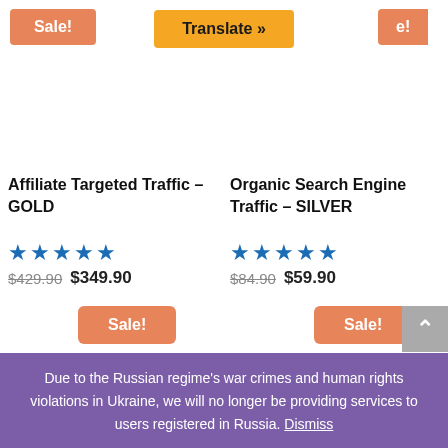[Figure (screenshot): Sale button (orange) top left]
[Figure (screenshot): Translate button (orange/amber) top center]
[Figure (screenshot): Sale button (orange) top right partially visible]
Affiliate Targeted Traffic – GOLD
★★★★★
$429.90 $349.90
Organic Search Engine Traffic – SILVER
★★★★★
$84.90 $59.90
[Figure (screenshot): Sale button bottom left]
[Figure (screenshot): Sale button bottom right]
[Figure (screenshot): YouTube banner with circle logo and YOUTUB text on red background]
Due to the Russian regime's war crimes and human rights violations in Ukraine, we will no longer be providing services to users registered in Russia. Dismiss